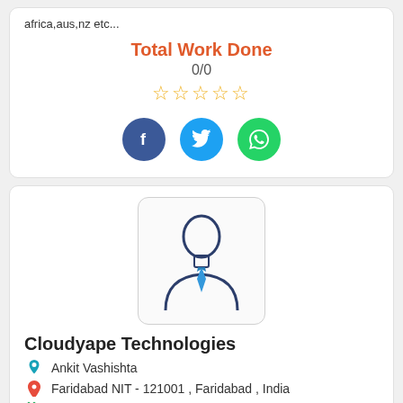africa,aus,nz etc...
Total Work Done
0/0
[Figure (other): Five empty star rating icons in gold/orange outline]
[Figure (other): Social media icons: Facebook (dark blue circle with f), Twitter (light blue circle with bird), WhatsApp (green circle with phone)]
[Figure (illustration): Generic user/person avatar icon inside a rounded rectangle box — outline of a person with a tie, dark navy color]
Cloudyape Technologies
Ankit Vashishta
Faridabad NIT - 121001 , Faridabad , India
Web Development SEO Video Design Content Wri